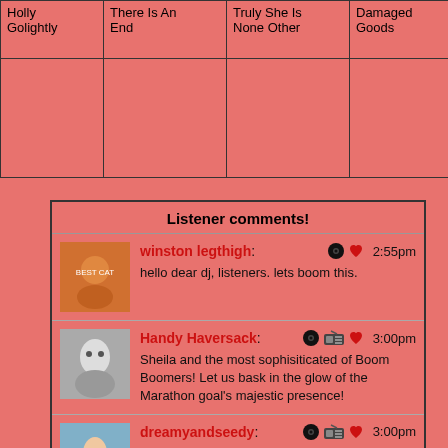| Holly Golightly | There Is An End | Truly She Is None Other | Damaged Goods | 2003 |
| --- | --- | --- | --- | --- |
|  |  |  |  |  |
| Listener comments! |
| --- |
| winston legthigh: | [vinyl][heart] 2:55pm | hello dear dj, listeners. lets boom this. |
| Handy Haversack: | [vinyl][radio][heart] 3:00pm | Sheila and the most sophisiticated of Boom Boomers! Let us bask in the glow of the Marathon goal's majestic presence! |
| dreamyandseedy: | [vinyl][radio][heart] 3:00pm | ready to get giddy! |
| Robm: | 3:00pm | Hello fellow listeners of the boom |